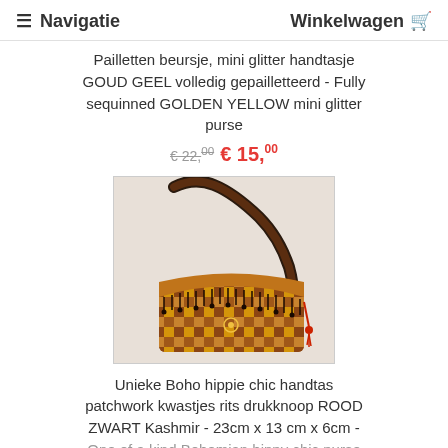≡ Navigatie    Winkelwagen 🛒
Pailletten beursje, mini glitter handtasje GOUD GEEL volledig gepailletteerd - Fully sequinned GOLDEN YELLOW mini glitter purse
€22,00 € 15,00
[Figure (photo): A boho hippie patchwork handbag in red and black with tassels, fringe, and a dark strap, photographed on a light background.]
Unieke Boho hippie chic handtas patchwork kwastjes rits drukknoop ROOD ZWART Kashmir - 23cm x 13 cm x 6cm - One of a kind Bohemian hippy chic purse